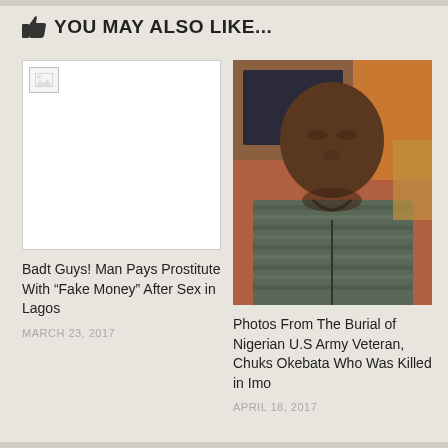YOU MAY ALSO LIKE...
[Figure (photo): Broken image placeholder (white box with broken image icon)]
Badt Guys! Man Pays Prostitute With “Fake Money” After Sex in Lagos
MARCH 23, 2017
[Figure (photo): Photo of a young Black man in a striped hoodie taking a selfie, with a computer monitor visible in the background]
Photos From The Burial of Nigerian U.S Army Veteran, Chuks Okebata Who Was Killed in Imo
APRIL 18, 2017